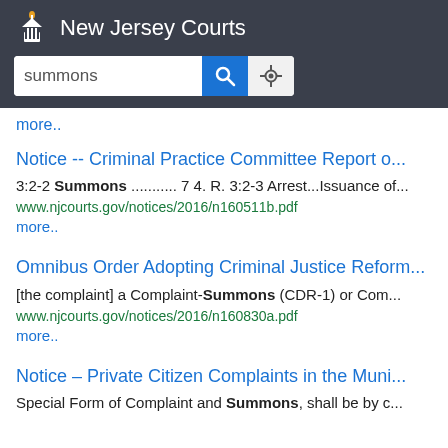New Jersey Courts
[Figure (screenshot): New Jersey Courts website search interface with search box containing 'summons']
more..
Notice -- Criminal Practice Committee Report o...
3:2-2 Summons ........... 7 4. R. 3:2-3 Arrest...Issuance of...
www.njcourts.gov/notices/2016/n160511b.pdf
more..
Omnibus Order Adopting Criminal Justice Reform...
[the complaint] a Complaint-Summons (CDR-1) or Com...
www.njcourts.gov/notices/2016/n160830a.pdf
more..
Notice – Private Citizen Complaints in the Muni...
Special Form of Complaint and Summons, shall be by c...